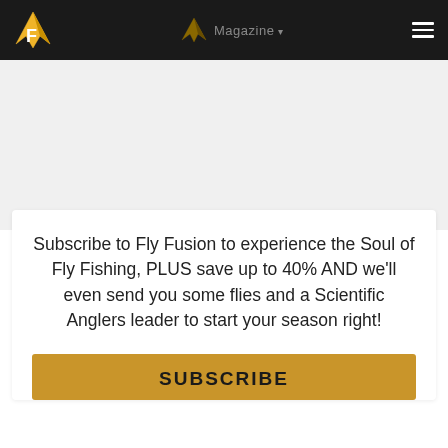Fly Fusion Magazine
Subscribe to Fly Fusion to experience the Soul of Fly Fishing, PLUS save up to 40% AND we'll even send you some flies and a Scientific Anglers leader to start your season right!
SUBSCRIBE